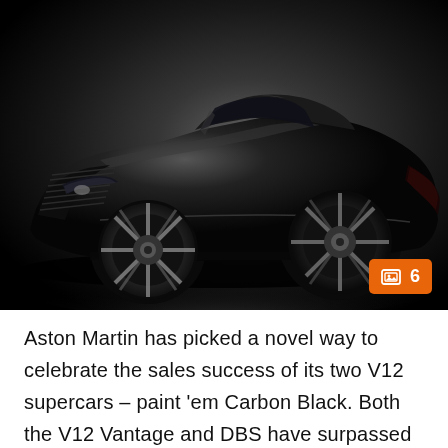[Figure (photo): Black Aston Martin sports car (V12 Vantage or DBS) photographed against a dark studio background with subtle lighting highlighting the car's glossy black paint. The car is shown from a front three-quarter angle. An orange badge in the bottom-right corner shows a photo/gallery icon and the number 6.]
Aston Martin has picked a novel way to celebrate the sales success of its two V12 supercars – paint 'em Carbon Black. Both the V12 Vantage and DBS have surpassed Aston's initial sales expectations, and this pair of special editions intends to crank up